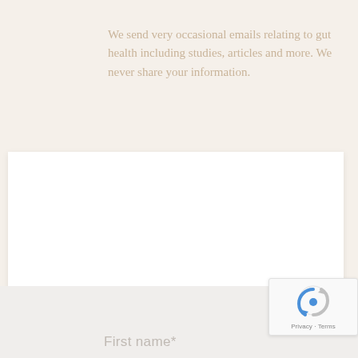We send very occasional emails relating to gut health including studies, articles and more. We never share your information.
[Figure (screenshot): reCAPTCHA badge with spinning arrow icon and Privacy - Terms text]
First name*